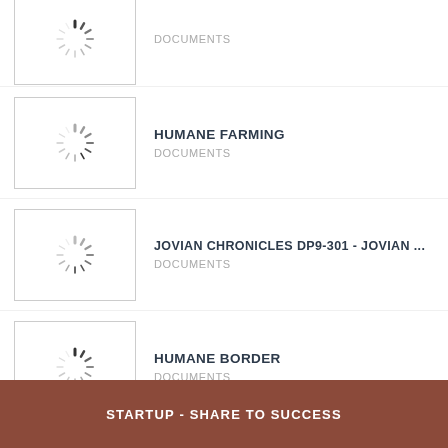DOCUMENTS
HUMANE FARMING
DOCUMENTS
JOVIAN CHRONICLES DP9-301 - JOVIAN ...
DOCUMENTS
HUMANE BORDER
DOCUMENTS
View More
STARTUP - SHARE TO SUCCESS